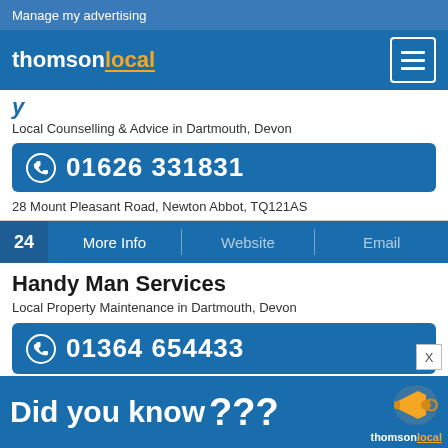Manage my advertising
[Figure (logo): Thomson Local logo with white 'thomson' and orange 'local' text, with hamburger menu icon on right]
y...
Local Counselling & Advice in Dartmouth, Devon
01626 331831
28 Mount Pleasant Road, Newton Abbot, TQ121AS
24   More Info   |   Website   |   Email
Handy Man Services
Local Property Maintenance in Dartmouth, Devon
01364 654433
4 Cooks Close, Ashburton, Newton Abbot, TQ137AN
[Figure (infographic): Did you know??? banner ad with Thomson Local logo and megaphone illustration]